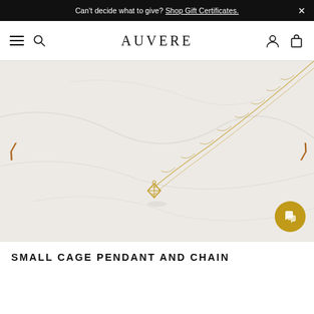Can't decide what to give? Shop Gift Certificates.
AUVERE
[Figure (photo): Close-up product photo of a small gold cage pendant on a delicate gold chain against a white marble background. The pendant is a small geometric diamond/cage shape in gold. Navigation arrows appear on the left and right sides of the image. A gold circular chat button is in the bottom-right corner.]
SMALL CAGE PENDANT AND CHAIN